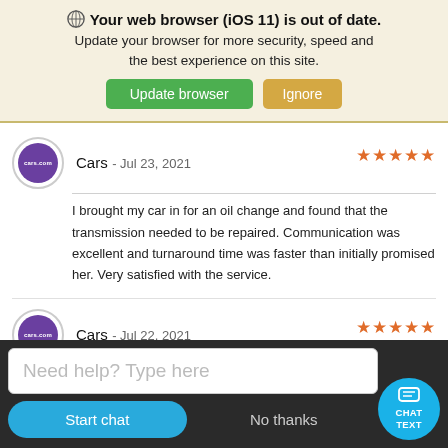Your web browser (iOS 11) is out of date. Update your browser for more security, speed and the best experience on this site.
[Figure (screenshot): Browser update warning banner with Update browser (green) and Ignore (tan) buttons]
Cars - Jul 23, 2021 ★★★★★
I brought my car in for an oil change and found that the transmission needed to be repaired. Communication was excellent and turnaround time was faster than initially promised her. Very satisfied with the service.
Cars - Jul 22, 2021 ★★★★★
[Figure (screenshot): Chat widget with text input 'Need help? Type here', Start chat and No thanks buttons, and CHAT TEXT floating button]